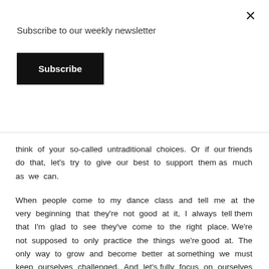×
Subscribe to our weekly newsletter
Subscribe
think of your so-called untraditional choices. Or if our friends do that, let's try to give our best to support them as much as we can.
When people come to my dance class and tell me at the very beginning that they're not good at it, I always tell them that I'm glad to see they've come to the right place. We're not supposed to only practice the things we're good at. The only way to grow and become better at something we must keep ourselves challenged. And let's fully focus on ourselves first, maybe that way we'll have